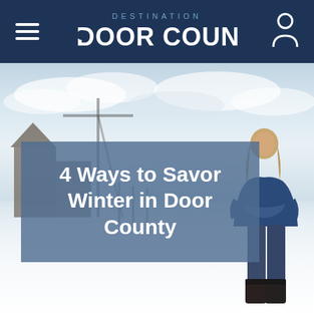DESTINATION DOOR COUNTY
[Figure (photo): Woman in blue jacket and jeans standing in a snowy winter outdoor scene, looking sideways. Background shows bare industrial structures and a wintry sky. Snow covers the ground.]
4 Ways to Savor Winter in Door County